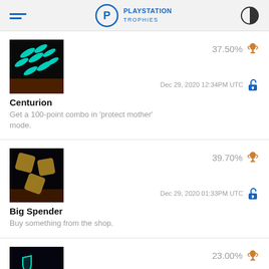PLAYSTATION TROPHIES
[Figure (screenshot): Trophy entry: Centurion - 37.50% bronze trophy, unlocked Dec 29, 2020 12:34PM UTC. Image shows cyan arrows on dark background.]
Centurion
Get a 100-point combo in 'protect mother' mode.
[Figure (screenshot): Trophy entry: Big Spender - 39.70% bronze trophy, unlocked Dec 29, 2020 01:33PM UTC. Image shows gold diamond shapes on dark background.]
Big Spender
Buy something from the shop.
[Figure (screenshot): Trophy entry: 23.00% bronze trophy, locked. Image shows teal shapes on dark background.]